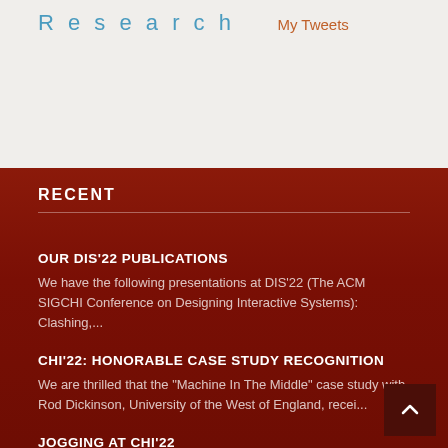Research
My Tweets
RECENT
OUR DIS'22 PUBLICATIONS
We have the following presentations at DIS'22 (The ACM SIGCHI Conference on Designing Interactive Systems): Clashing,...
CHI'22: HONORABLE CASE STUDY RECOGNITION
We are thrilled that the "Machine In The Middle" case study with Rod Dickinson, University of the West of England, recei...
JOGGING AT CHI'22